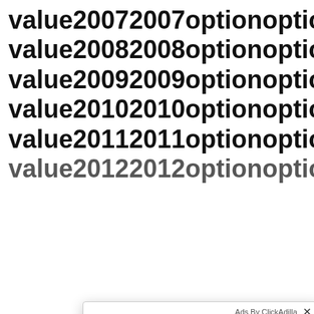value20072007optionoption
value20082008optionoption
value20092009optionoption
value20102010optionoption
value20112011optionoption
value20122012optionoption (partial)
[Figure (screenshot): Ad popup overlay from ClickAdilla showing a chat notification from 'Sophie' saying 'Hey baby.. are you alone?' with a photo of a young woman lying down, and a '2md' timestamp.]